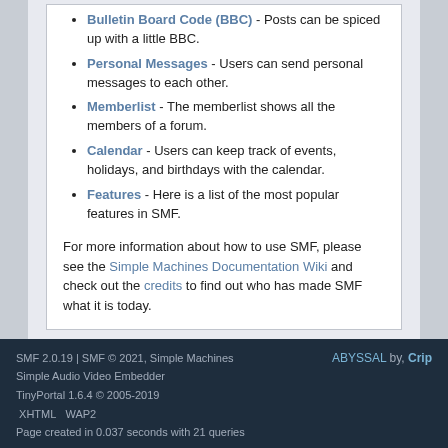Bulletin Board Code (BBC) - Posts can be spiced up with a little BBC.
Personal Messages - Users can send personal messages to each other.
Memberlist - The memberlist shows all the members of a forum.
Calendar - Users can keep track of events, holidays, and birthdays with the calendar.
Features - Here is a list of the most popular features in SMF.
For more information about how to use SMF, please see the Simple Machines Documentation Wiki and check out the credits to find out who has made SMF what it is today.
SMF 2.0.19 | SMF © 2021, Simple Machines | Simple Audio Video Embedder | TinyPortal 1.6.4 © 2005-2019 | XHTML | WAP2 | Page created in 0.037 seconds with 21 queries | ABYSSAL by, Crip